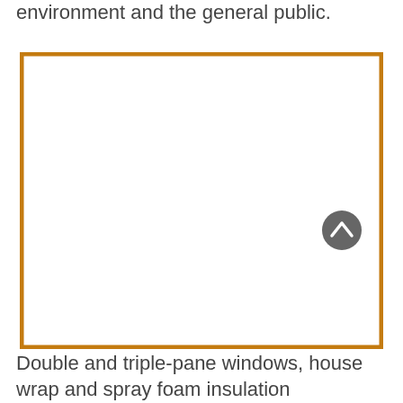environment and the general public.
[Figure (other): Empty orange-bordered rectangle placeholder image box]
Double and triple-pane windows, house wrap and spray foam insulation